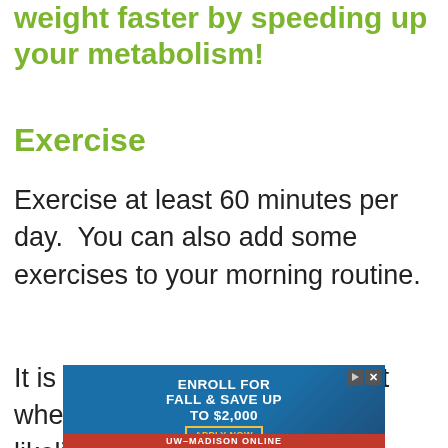weight faster by speeding up your metabolism!
Exercise
Exercise at least 60 minutes per day.  You can also add some exercises to your morning routine.
It is important to remember that when you lose weight, the likelihood of losing it quickly increases. You are more likely to see results faster because you have less fat on your body
[Figure (infographic): Advertisement banner: ENROLL FOR FALL & SAVE UP TO $2,000, APPLY NOW button, UW-MADISON ONLINE]